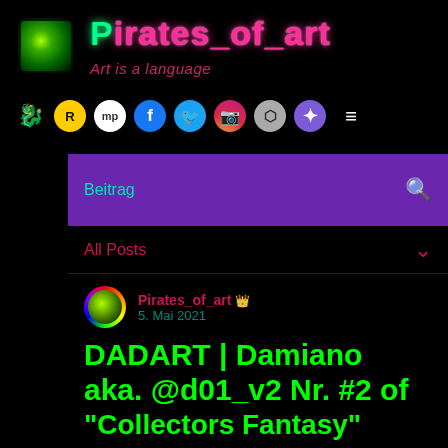Pirates_of_art — Art is a language
Beitrag
All Posts
Pirates_of_art 👑
5. Mai 2021
DADART | Damiano aka. @d01_v2 Nr. #2 of "Collectors Fantasy"